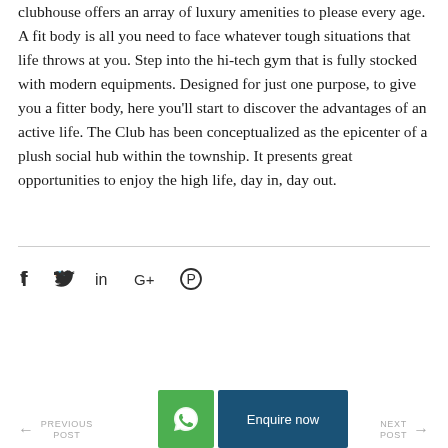clubhouse offers an array of luxury amenities to please every age. A fit body is all you need to face whatever tough situations that life throws at you. Step into the hi-tech gym that is fully stocked with modern equipments. Designed for just one purpose, to give you a fitter body, here you'll start to discover the advantages of an active life. The Club has been conceptualized as the epicenter of a plush social hub within the township. It presents great opportunities to enjoy the high life, day in, day out.
[Figure (other): Social media sharing icons: Facebook, Twitter, LinkedIn, Google+, Pinterest]
[Figure (other): Navigation bar with Previous Post (left arrow), WhatsApp button (green), Enquire now button (dark blue), and Next Post (right arrow)]